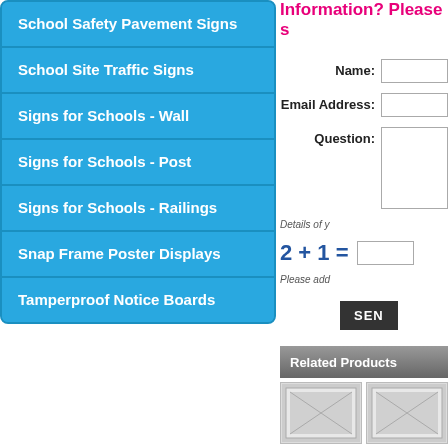School Safety Pavement Signs
School Site Traffic Signs
Signs for Schools - Wall
Signs for Schools - Post
Signs for Schools - Railings
Snap Frame Poster Displays
Tamperproof Notice Boards
Information? Please s
Name:
Email Address:
Question:
Details of y
2 + 1 =
Please add
SEN
Related Products
[Figure (photo): Two product thumbnail images of notice boards/signs]
[Figure (photo): Second product thumbnail image of notice board/sign]